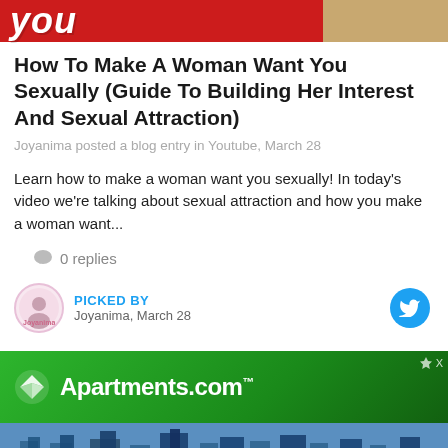[Figure (photo): Partial top banner image with red background and italic white text 'you' visible, with a person in beige/tan clothing on the right side]
How To Make A Woman Want You Sexually (Guide To Building Her Interest And Sexual Attraction)
Joyanima posted a blog entry in Youtube, March 28
Learn how to make a woman want you sexually! In today's video we're talking about sexual attraction and how you make a woman want...
0 replies
PICKED BY
Joyanima, March 28
[Figure (photo): Apartments.com advertisement banner with green gradient background and white logo]
[Figure (photo): Partial bottom image showing sky and buildings]